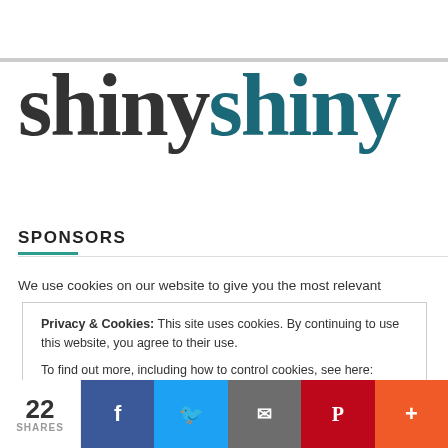[Figure (logo): shinyshiny logo — 'shiny' in dark gray serif font, 'shiny' in dark teal serif font]
SPONSORS
We use cookies on our website to give you the most relevant
Privacy & Cookies: This site uses cookies. By continuing to use this website, you agree to their use.
To find out more, including how to control cookies, see here: Cookie Policy
22 SHARES